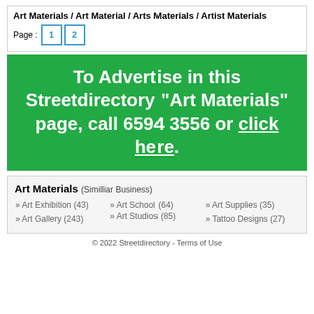Art Materials / Art Material / Arts Materials / Artist Materials
Page : 1 2
[Figure (infographic): Green banner advertisement: To Advertise in this Streetdirectory "Art Materials" page, call 6594 3556 or click here.]
Art Materials (Similliar Business)
» Art Exhibition (43)
» Art School (64)
» Art Supplies (35)
» Art Gallery (243)
» Art Studios (85)
» Tattoo Designs (27)
© 2022 Streetdirectory - Terms of Use